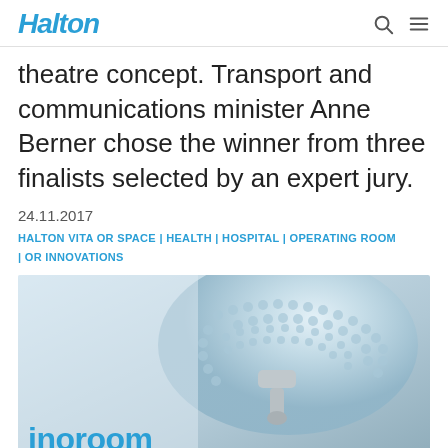Halton
theatre concept. Transport and communications minister Anne Berner chose the winner from three finalists selected by an expert jury.
24.11.2017
HALTON VITA OR SPACE | HEALTH | HOSPITAL | OPERATING ROOM | OR INNOVATIONS
[Figure (photo): Close-up photograph of a surgical operating room light/lamp with LED elements visible, with 'inoroom' branding text visible in the lower left of the image]